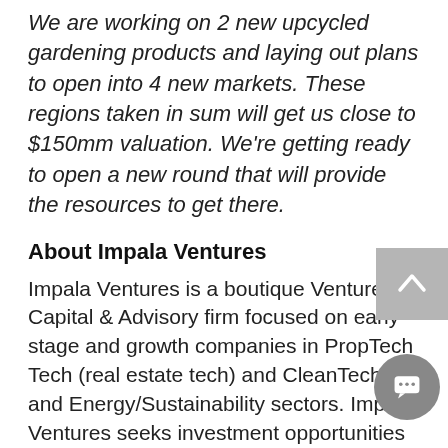We are working on 2 new upcycled gardening products and laying out plans to open into 4 new markets. These regions taken in sum will get us close to $150mm valuation. We're getting ready to open a new round that will provide the resources to get there.
About Impala Ventures
Impala Ventures is a boutique Venture Capital & Advisory firm focused on early stage and growth companies in PropTech Tech (real estate tech) and CleanTech and Energy/Sustainability sectors. Impala Ventures seeks investment opportunities with growth companies that disrupt their industries and bring positive environmental